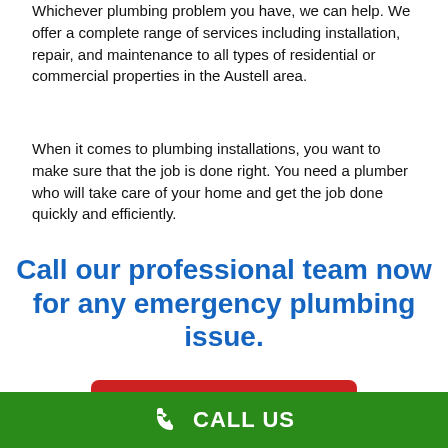Whichever plumbing problem you have, we can help. We offer a complete range of services including installation, repair, and maintenance to all types of residential or commercial properties in the Austell area.
When it comes to plumbing installations, you want to make sure that the job is done right. You need a plumber who will take care of your home and get the job done quickly and efficiently.
Call our professional team now for any emergency plumbing issue.
Call (877) 959-6069
If you are in the Austell area and need a plumber, we can help. We
CALL US